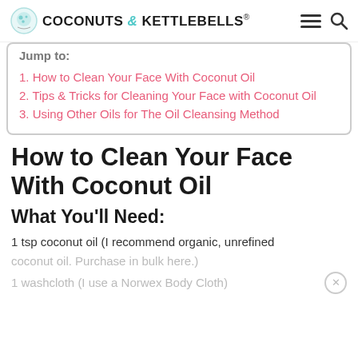COCONUTS & KETTLEBELLS
Jump to:
1. How to Clean Your Face With Coconut Oil
2. Tips & Tricks for Cleaning Your Face with Coconut Oil
3. Using Other Oils for The Oil Cleansing Method
How to Clean Your Face With Coconut Oil
What You'll Need:
1 tsp coconut oil (I recommend organic, unrefined coconut oil. Purchase in bulk here.)
1 washcloth (I use a Norwex Body Cloth)